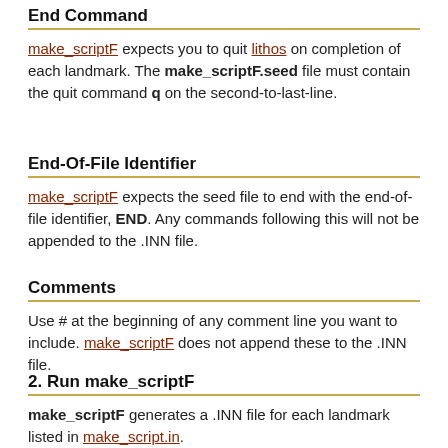End Command
make_scriptF expects you to quit lithos on completion of each landmark. The make_scriptF.seed file must contain the quit command q on the second-to-last-line.
End-Of-File Identifier
make_scriptF expects the seed file to end with the end-of-file identifier, END. Any commands following this will not be appended to the .INN file.
Comments
Use # at the beginning of any comment line you want to include. make_scriptF does not append these to the .INN file.
2. Run make_scriptF
make_scriptF generates a .INN file for each landmark listed in make_script.in.